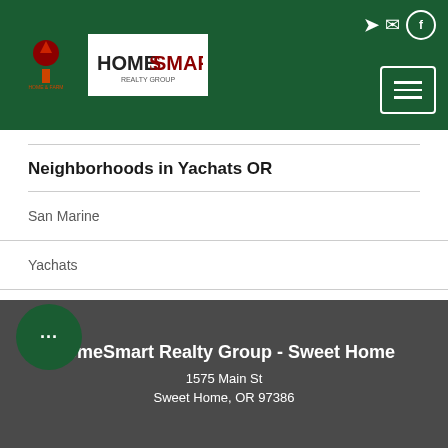HomeSmart Realty Group navigation header with logos and menu button
Neighborhoods in Yachats OR
San Marine
Yachats
YMOI
HomeSmart Realty Group - Sweet Home
1575 Main St
Sweet Home, OR 97386